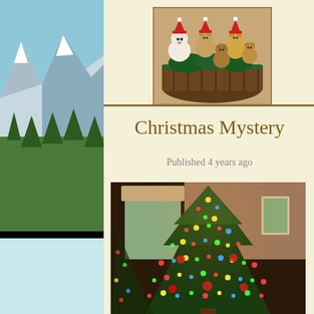[Figure (photo): Background: mountain landscape with snow-capped peaks and forest on left and right sides, light blue sky]
[Figure (photo): Small stuffed teddy bears in Christmas outfits sitting in a woven basket with Christmas decorations]
Christmas Mystery
Published 4 years ago
[Figure (photo): A decorated Christmas tree with colorful lights (red, green, yellow, blue) lit up in a darkened room with a window visible in the background]